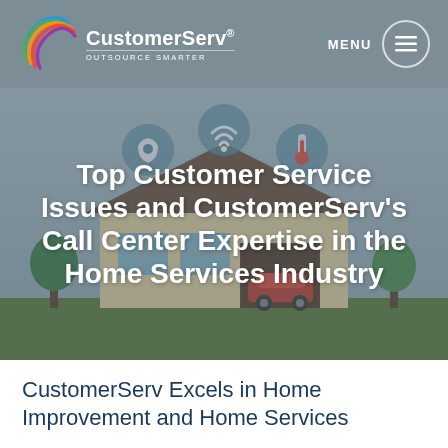CustomerServ® OUTSOURCE SMARTER | MENU
[Figure (illustration): Hero banner with illustration of a smart home with icons for security, wifi, and temperature floating above it, and a red car in the garage. Overlaid with semi-transparent grey tint.]
Top Customer Service Issues and CustomerServ's Call Center Expertise in the Home Services Industry
CustomerServ Excels in Home Improvement and Home Services